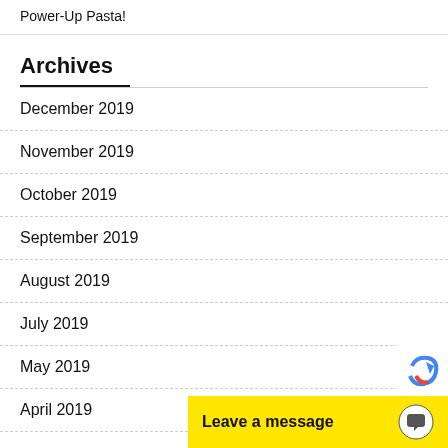Power-Up Pasta!
Archives
December 2019
November 2019
October 2019
September 2019
August 2019
July 2019
May 2019
April 2019